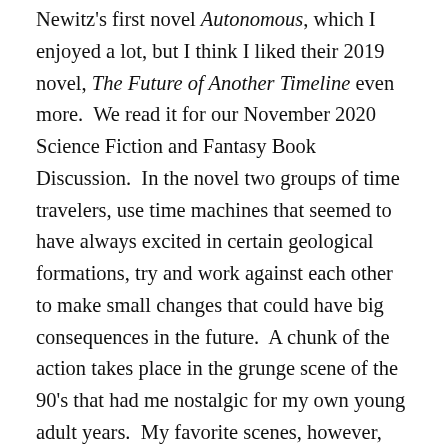Newitz's first novel Autonomous, which I enjoyed a lot, but I think I liked their 2019 novel, The Future of Another Timeline even more.  We read it for our November 2020 Science Fiction and Fantasy Book Discussion.  In the novel two groups of time travelers, use time machines that seemed to have always excited in certain geological formations, try and work against each other to make small changes that could have big consequences in the future.  A chunk of the action takes place in the grunge scene of the 90's that had me nostalgic for my own young adult years.  My favorite scenes, however, were those set during the time of the Chicago World's Fair in 1893, which Newitz brought vividly to life.  I appreciated that they included information at the end of the novel about their real life inspiration for historic characters and the historic events that inspired them.  Newitz identifies as being non-